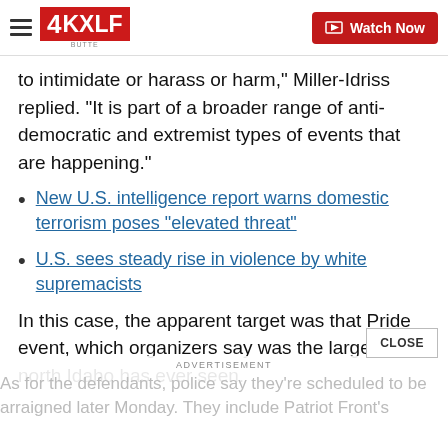4KXLF BUTTE — Watch Now
to intimidate or harass or harm," Miller-Idriss replied. "It is part of a broader range of anti-democratic and extremist types of events that are happening."
New U.S. intelligence report warns domestic terrorism poses "elevated threat"
U.S. sees steady rise in violence by white supremacists
In this case, the apparent target was that Pride event, which organizers say was the largest north Idaho has ever seen.
As for the defendants, police say they're scheduled to be arraigned later Monday. They include Patriot Front's...